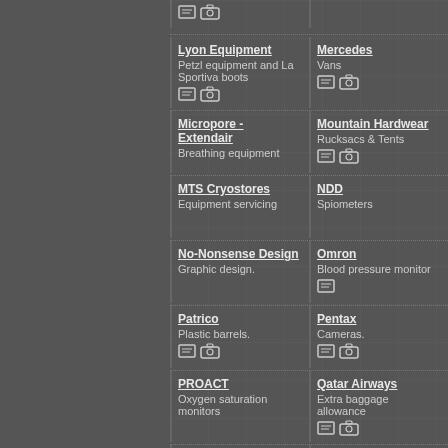Lyon Equipment — Petzl equipment and La Sportiva boots
Mercedes — Vans
Micropore - Extendair — Breathing equipment
Mountain Hardwear — Rucksacs & Tents
MTS Cryostores — Equipment servicing
NDD — Spiometers
No-Nonsense Design — Graphic design.
Omron — Blood pressure monitor
Patrico — Plastic barrels.
Pentax — Cameras.
PROACT — Oxygen saturation monitors
Qatar Airways — Extra baggage allowance
Rayzume Software — Website design and maintenance.
Robert Horne — Labels